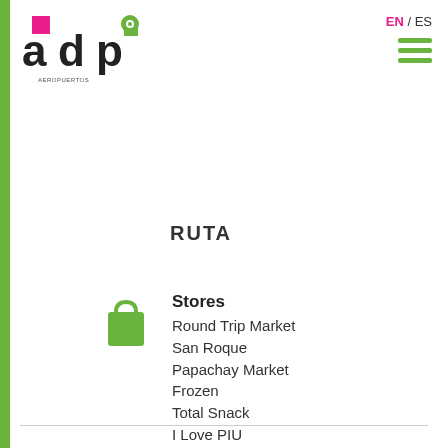[Figure (logo): ADP Aeropuertos del Peru logo with green and magenta design]
EN / ES
RUTA
Stores
Round Trip Market
San Roque
Papachay Market
Frozen
Total Snack
I Love PIU
ATM
Global Net
Scotiabank
BCP
Caja Piura